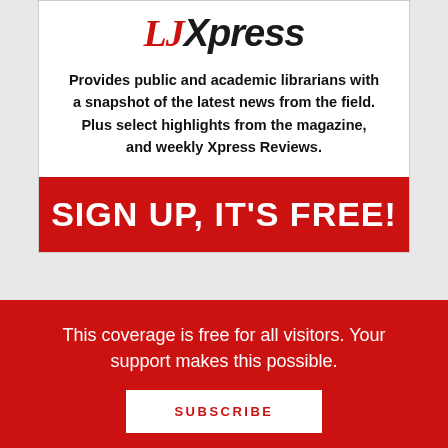[Figure (logo): LJXpress logo - LJ in red italic serif, Xpress in black italic sans-serif]
Provides public and academic librarians with a snapshot of the latest news from the field. Plus select highlights from the magazine, and weekly Xpress Reviews.
SIGN UP, IT'S FREE!
ARCHIVES
This coverage is free for all visitors. Your support makes this possible.
SUBSCRIBE